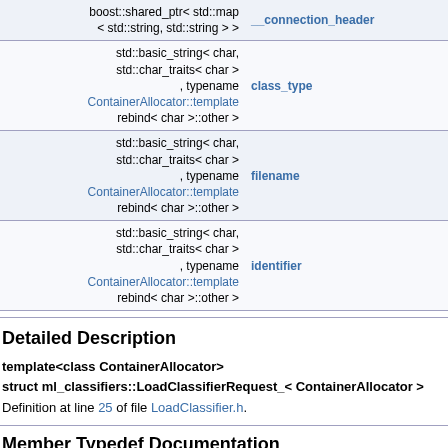| Type | Name |
| --- | --- |
| boost::shared_ptr< std::map < std::string, std::string > > | __connection_header |
| std::basic_string< char, std::char_traits< char > , typename ContainerAllocator::template rebind< char >::other > | class_type |
| std::basic_string< char, std::char_traits< char > , typename ContainerAllocator::template rebind< char >::other > | filename |
| std::basic_string< char, std::char_traits< char > , typename ContainerAllocator::template rebind< char >::other > | identifier |
Detailed Description
template<class ContainerAllocator>
struct ml_classifiers::LoadClassifierRequest_< ContainerAllocator >
Definition at line 25 of file LoadClassifier.h.
Member Typedef Documentation